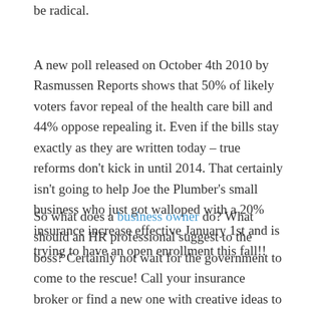be radical.
A new poll released on October 4th 2010 by Rasmussen Reports shows that 50% of likely voters favor repeal of the health care bill and 44% oppose repealing it. Even if the bills stay exactly as they are written today – true reforms don't kick in until 2014. That certainly isn't going to help Joe the Plumber's small business who just got walloped with a 20% insurance increase effective January 1st and is trying to have an open enrollment this fall!!
So what does a business owner do? What should an HR professional suggest to the boss? Certainly not wait for the government to come to the rescue! Call your insurance broker or find a new one with creative ideas to help your business control these insurance costs. The group health insurance marketplace is coming out with new and creative ideas all the time. Joe the Plumber doesn't have time to learn